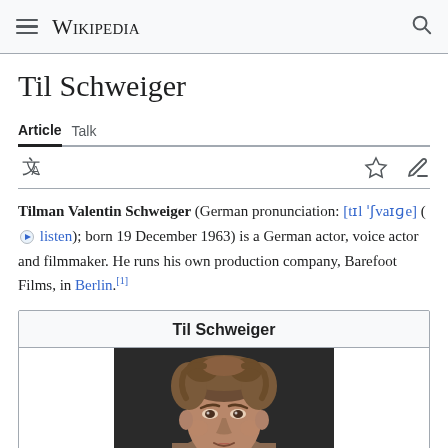Wikipedia
Til Schweiger
Article  Talk
Tilman Valentin Schweiger (German pronunciation: [tɪl ˈʃvaɪɡe] ( listen); born 19 December 1963) is a German actor, voice actor and filmmaker. He runs his own production company, Barefoot Films, in Berlin.[1]
Til Schweiger
[Figure (photo): Portrait photo of Til Schweiger, a man with curly/wavy medium-length hair, photographed against a dark background from shoulders up]